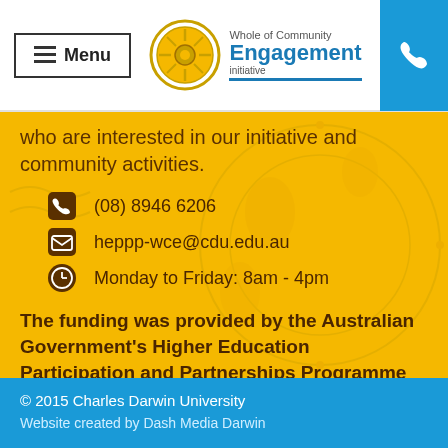Menu | Whole of Community Engagement Initiative
who are interested in our initiative and community activities.
(08) 8946 6206
heppp-wce@cdu.edu.au
Monday to Friday: 8am - 4pm
The funding was provided by the Australian Government's Higher Education Participation and Partnerships Programme
© 2015 Charles Darwin University
Website created by Dash Media Darwin